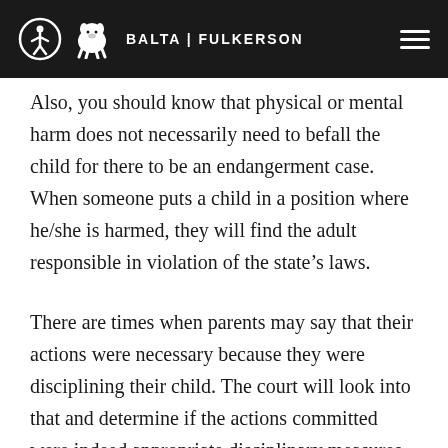BALTA | FULKERSON
Also, you should know that physical or mental harm does not necessarily need to befall the child for there to be an endangerment case. When someone puts a child in a position where he/she is harmed, they will find the adult responsible in violation of the state’s laws.
There are times when parents may say that their actions were necessary because they were disciplining their child. The court will look into that and determine if the actions committed were indeed appropriate disciplinary measures or if they went